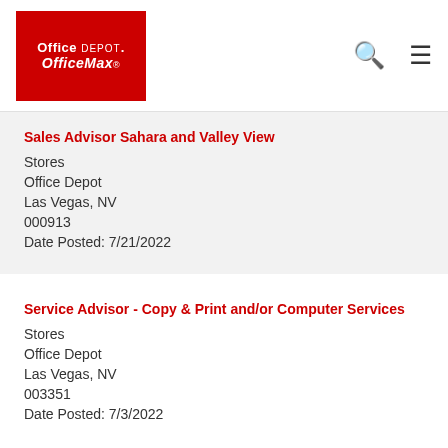Office Depot OfficeMax
Sales Advisor Sahara and Valley View
Stores
Office Depot
Las Vegas, NV
000913
Date Posted: 7/21/2022
Service Advisor - Copy & Print and/or Computer Services
Stores
Office Depot
Las Vegas, NV
003351
Date Posted: 7/3/2022
Sales Advisor - Cashier, Sales Floor, Logistics
Stores
Office Depot